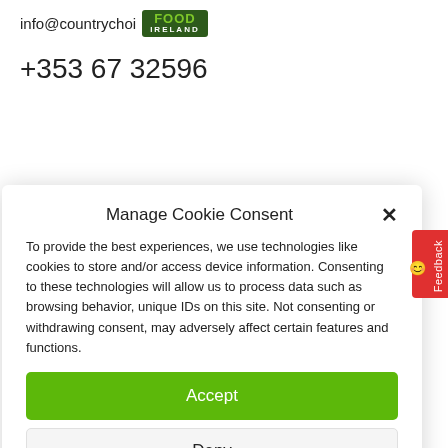info@countrychoice
[Figure (logo): Food Ireland logo — green background with 'FOOD' in yellow-green and 'IRELAND' in white below]
+353 67 32596
Manage Cookie Consent
To provide the best experiences, we use technologies like cookies to store and/or access device information. Consenting to these technologies will allow us to process data such as browsing behavior, unique IDs on this site. Not consenting or withdrawing consent, may adversely affect certain features and functions.
Accept
Deny
View preferences
Cookie Policy   Privacy Policy   Cookie Policy